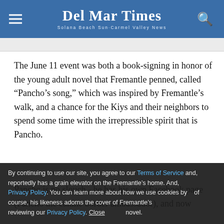Del Mar Times — Solana Beach Sun-Carmel Valley News
The June 11 event was both a book-signing in honor of the young adult novel that Fremantle penned, called “Pancho’s song,” which was inspired by Fremantle’s walk, and a chance for the Kiys and their neighbors to spend some time with the irrepressible spirit that is Pancho.
Pancho is no slouch - he has his own Facebook page (Pancho the canine border ambassador), and now reportedly has a grain elevator on the Fremantle’s home. And, of course, his likeness adorns the cover of Fremantle’s novel.
By continuing to use our site, you agree to our Terms of Service and Privacy Policy. You can learn more about how we use cookies by reviewing our Privacy Policy. Close